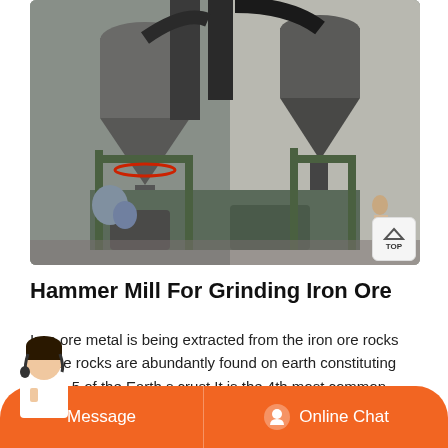[Figure (photo): Industrial hammer mill grinding equipment with cyclone separators, conveyor pipes, and metal framework inside a factory setting]
Hammer Mill For Grinding Iron Ore
Iron ore metal is being extracted from the iron ore rocks These rocks are abundantly found on earth constituting about 5 of the Earth s crust It is the 4th most common element in the world A pulverizer hammer mill is a mechanical grinding device that is